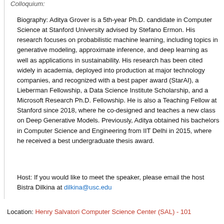Colloquium:
Biography: Aditya Grover is a 5th-year Ph.D. candidate in Computer Science at Stanford University advised by Stefano Ermon. His research focuses on probabilistic machine learning, including topics in generative modeling, approximate inference, and deep learning as well as applications in sustainability. His research has been cited widely in academia, deployed into production at major technology companies, and recognized with a best paper award (StarAI), a Lieberman Fellowship, a Data Science Institute Scholarship, and a Microsoft Research Ph.D. Fellowship. He is also a Teaching Fellow at Stanford since 2018, where he co-designed and teaches a new class on Deep Generative Models. Previously, Aditya obtained his bachelors in Computer Science and Engineering from IIT Delhi in 2015, where he received a best undergraduate thesis award.
Host: If you would like to meet the speaker, please email the host Bistra Dilkina at dilkina@usc.edu
Location: Henry Salvatori Computer Science Center (SAL) - 101